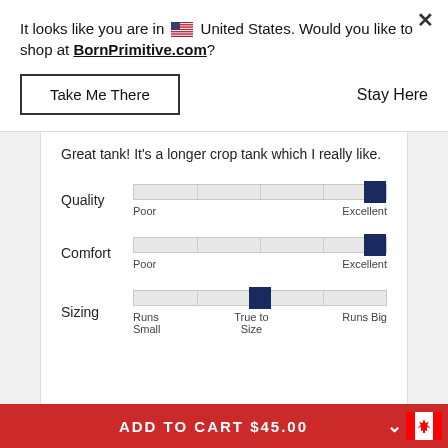It looks like you are in 🇺🇸 United States. Would you like to shop at BornPrimitive.com?
Take Me There
Stay Here
Great tank! It's a longer crop tank which I really like.
[Figure (other): Horizontal rating slider for Quality, positioned at maximum (Excellent). Labels: Poor, Excellent.]
[Figure (other): Horizontal rating slider for Comfort, positioned at maximum (Excellent). Labels: Poor, Excellent.]
[Figure (other): Horizontal rating slider for Sizing, positioned at center (True to Size). Labels: Runs Small, True to Size, Runs Big.]
ADD TO CART $45.00